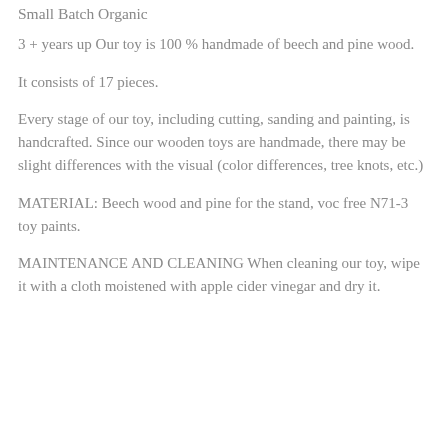Small Batch  Organic
3 + years up Our toy is 100 % handmade of beech and pine wood.
It consists of 17 pieces.
Every stage of our toy, including cutting, sanding and painting, is handcrafted. Since our wooden toys are handmade, there may be slight differences with the visual (color differences, tree knots, etc.)
MATERIAL: Beech wood and pine for the stand, voc free N71-3 toy paints.
MAINTENANCE AND CLEANING When cleaning our toy, wipe it with a cloth moistened with apple cider vinegar and dry it.